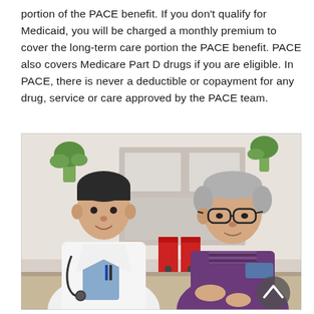portion of the PACE benefit. If you don't qualify for Medicaid, you will be charged a monthly premium to cover the long-term care portion the PACE benefit. PACE also covers Medicare Part D drugs if you are eligible. In PACE, there is never a deductible or copayment for any drug, service or care approved by the PACE team.
[Figure (photo): A doctor in a white coat with a stethoscope sits across from an elderly man wearing glasses and a purple sweater, appearing to be in a medical consultation. Red binder folders are visible in the background. A circular arrow-up navigation button is in the bottom-right corner of the image.]